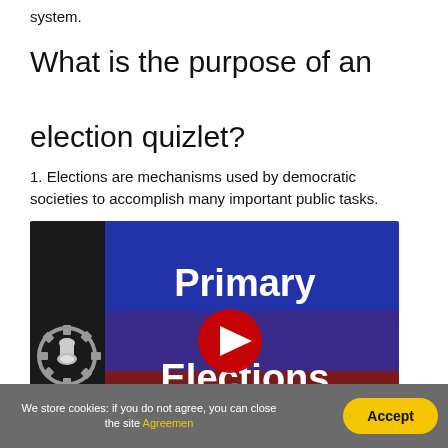system.
What is the purpose of an election quizlet?
1. Elections are mechanisms used by democratic societies to accomplish many important public tasks.
[Figure (screenshot): YouTube video thumbnail showing 'Primary Elections' text in white on a blue and dark background, with a YouTube play button overlay and a chemistry/science logo on the left side.]
We store cookies: if you do not agree, you can close the site Agreemen